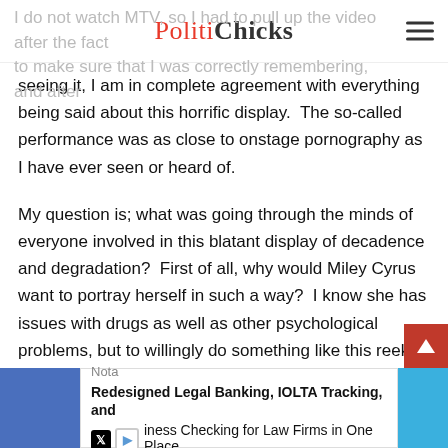PolitiChicks
I do not watch MTV, so I had to pull up the video after the fact to make sure that I was correctly remembering, and after seeing it, I am in complete agreement with everything being said about this horrific display. The so-called performance was as close to onstage pornography as I have ever seen or heard of.
My question is; what was going through the minds of everyone involved in this blatant display of decadence and degradation? First of all, why would Miley Cyrus want to portray herself in such a way? I know she has issues with drugs as well as other psychological problems, but to willingly do something like this reeks of self-loathing and zero self-esteem. The others involved, like her managers, and the MTV producers are just sitting back smiling, dreaming of the amazing controversy this will stir up.
[Figure (screenshot): Advertisement banner at the bottom: Nota - Redesigned Legal Banking, IOLTA Tracking, and Business Checking for Law Firms in One Place]